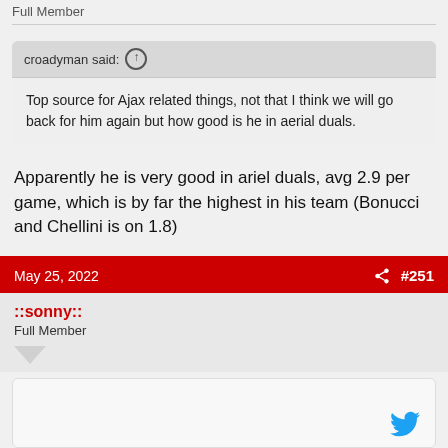Full Member
croadyman said: ↑
Top source for Ajax related things, not that I think we will go back for him again but how good is he in aerial duals.
Apparently he is very good in ariel duals, avg 2.9 per game, which is by far the highest in his team (Bonucci and Chellini is on 1.8)
May 25, 2022  #251
::sonny::
Full Member